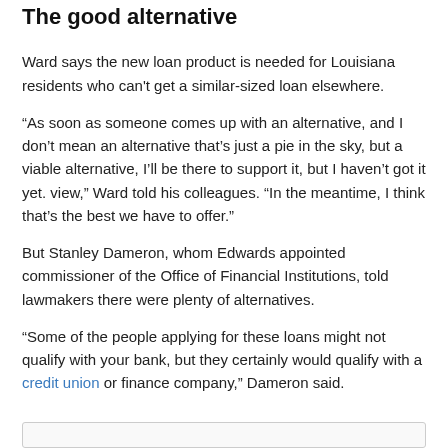The good alternatives
Ward says the new loan product is needed for Louisiana residents who can't get a similar-sized loan elsewhere.
“As soon as someone comes up with an alternative, and I don’t mean an alternative that’s just a pie in the sky, but a viable alternative, I’ll be there to support it, but I haven’t got it yet. view,” Ward told his colleagues. “In the meantime, I think that’s the best we have to offer.”
But Stanley Dameron, whom Edwards appointed commissioner of the Office of Financial Institutions, told lawmakers there were plenty of alternatives.
“Some of the people applying for these loans might not qualify with your bank, but they certainly would qualify with a credit union or finance company,” Dameron said.